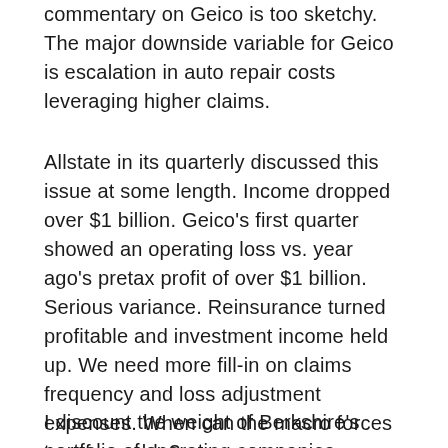commentary on Geico is too sketchy. The major downside variable for Geico is escalation in auto repair costs leveraging higher claims.
Allstate in its quarterly discussed this issue at some length. Income dropped over $1 billion. Geico's first quarter showed an operating loss vs. year ago's pretax profit of over $1 billion. Serious variance. Reinsurance turned profitable and investment income held up. We need more fill-in on claims frequency and loss adjustment expenses. When can the macro forces turn favorable?
I discount the weight of Berkshire's portfolio of operating companies